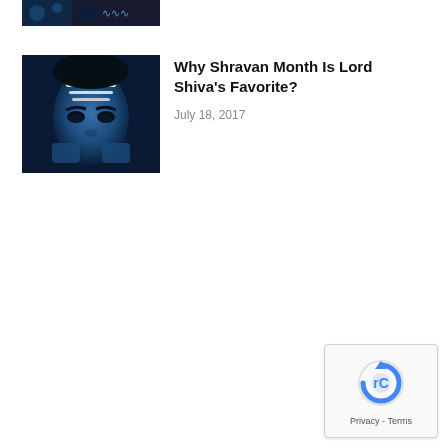[Figure (photo): Partial view of a figure with decorative blue elements, cropped at top]
[Figure (photo): Blue-tinted close-up face of Lord Shiva character with white horizontal marks on forehead]
Why Shravan Month Is Lord Shiva's Favorite?
July 18, 2017
[Figure (logo): Google reCAPTCHA badge with spinning arrow icon and Privacy - Terms text]